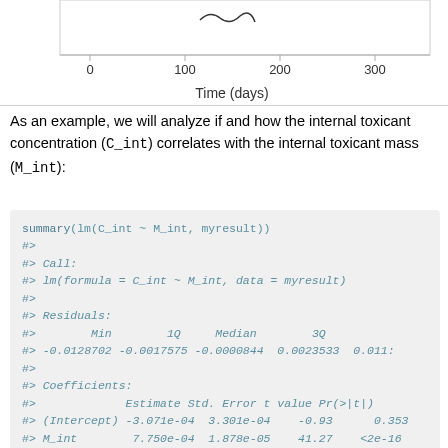[Figure (continuous-plot): Bottom portion of a time-series plot showing x-axis labeled 'Time (days)' with tick marks at 0, 100, 200, 300.]
As an example, we will analyze if and how the internal toxicant concentration (C_int) correlates with the internal toxicant mass (M_int):
summary(lm(C_int ~ M_int, myresult))
#>
#> Call:
#> lm(formula = C_int ~ M_int, data = myresult)
#>
#> Residuals:
#>        Min          1Q      Median          3Q
#> -0.0128702  -0.0017575  -0.0000844   0.0023533   0.011:
#>
#> Coefficients:
#>              Estimate  Std. Error  t value  Pr(>|t|)
#> (Intercept)  -3.071e-04  3.301e-04    -0.93     0.353
#> M_int         7.750e-04  1.878e-05    41.27    <2e-16
#> ---
#> Signif. codes:  0 '***' 0.001 '**' 0.01 '*' 0.05 '.
#>